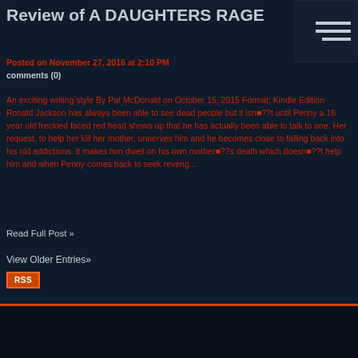Review of A DAUGHTERS RAGE
Posted on November 27, 2016 at 2:10 PM
comments (0)
An exciting writing style By Pat McDonald on October 15, 2015 Format: Kindle Edition Ronald Jackson has always been able to see dead people but it isn■??t until Penny a 16 year old freckled faced red head shows up that he has actually been able to talk to one. Her request, to help her kill her mother, unnerves him and he becomes close to falling back into his old addictions. It makes him dwell on his own mother■??s death which doesn■??t help him and when Penny comes back to seek reveng...
Read Full Post »
View Older Entries»
[Figure (other): RSS feed badge button]